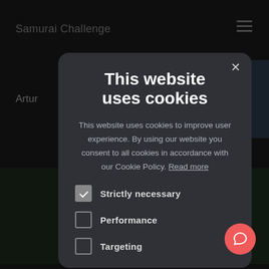[Figure (screenshot): Dark website background with 'Samurai Challenge' header text, hamburger menu icon, and partially visible photo cards with dark nature/water imagery. The label 'Artur' is partially visible on the left side.]
This website uses cookies
This website uses cookies to improve user experience. By using our website you consent to all cookies in accordance with our Cookie Policy. Read more
Strictly necessary
Performance
Targeting